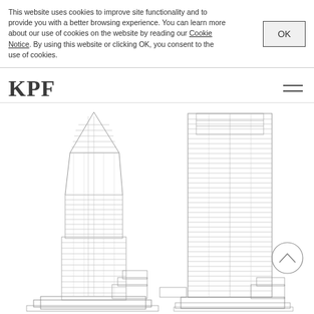This website uses cookies to improve site functionality and to provide you with a better browsing experience. You can learn more about our use of cookies on the website by reading our Cookie Notice. By using this website or clicking OK, you consent to the use of cookies.
OK
KPF
[Figure (engineering-diagram): Architectural elevation drawings of two tall skyscraper towers (KPF project), showing detailed facade line drawings in plan elevation view. Left tower is tapered/pointed at top. Right tower is more rectangular with a flat top. Both show detailed floor-by-floor horizontal banding and structural grid lines. A circular scroll-up navigation button is visible at the lower right.]